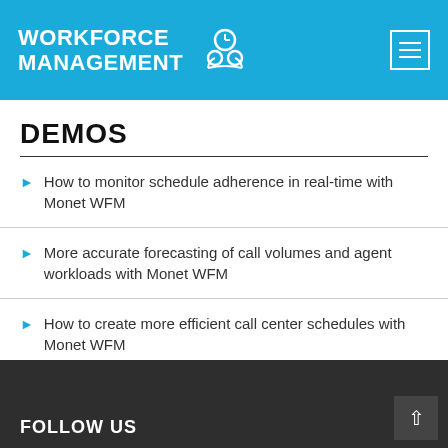WORKFORCE MANAGEMENT
DEMOS
How to monitor schedule adherence in real-time with Monet WFM
More accurate forecasting of call volumes and agent workloads with Monet WFM
How to create more efficient call center schedules with Monet WFM
FOLLOW US